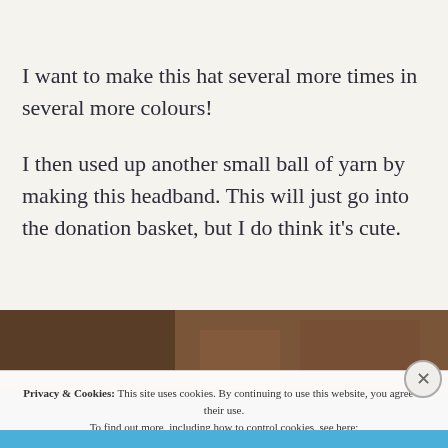I want to make this hat several more times in several more colours!
I then used up another small ball of yarn by making this headband. This will just go into the donation basket, but I do think it’s cute.
[Figure (photo): Close-up photo of a brown knitted headband or hat on a surface]
Privacy & Cookies: This site uses cookies. By continuing to use this website, you agree to their use. To find out more, including how to control cookies, see here: Cookie Policy
Close and accept